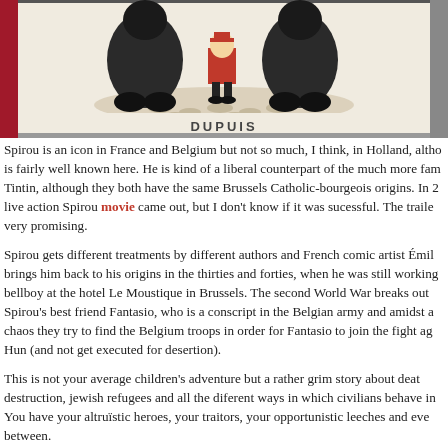[Figure (illustration): Comic book cover or illustration showing cartoon characters in a cobblestone scene, with 'DUPUIS' printed at the bottom center. The image has a red/dark border on the left side.]
Spirou is an icon in France and Belgium but not so much, I think, in Holland, although is fairly well known here. He is kind of a liberal counterpart of the much more famous Tintin, although they both have the same Brussels Catholic-bourgeois origins. In 2 live action Spirou movie came out, but I don't know if it was sucessful. The trailer very promising.
Spirou gets different treatments by different authors and French comic artist Émile brings him back to his origins in the thirties and forties, when he was still working bellboy at the hotel Le Moustique in Brussels. The second World War breaks out Spirou's best friend Fantasio, who is a conscript in the Belgian army and amidst a chaos they try to find the Belgium troops in order for Fantasio to join the fight aga Hun (and not get executed for desertion).
This is not your average children's adventure but a rather grim story about death destruction, jewish refugees and all the diferent ways in which civilians behave in You have your altruïstic heroes, your traitors, your opportunistic leeches and ever between.
This is the sequel of an album by Bravo from 2018, which is translated in Englis